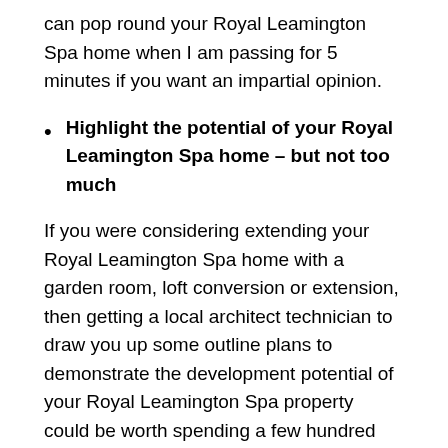can pop round your Royal Leamington Spa home when I am passing for 5 minutes if you want an impartial opinion.
Highlight the potential of your Royal Leamington Spa home – but not too much
If you were considering extending your Royal Leamington Spa home with a garden room, loft conversion or extension, then getting a local architect technician to draw you up some outline plans to demonstrate the development potential of your Royal Leamington Spa property could be worth spending a few hundred pounds on.
Yet at the same time, be careful not to extend to make